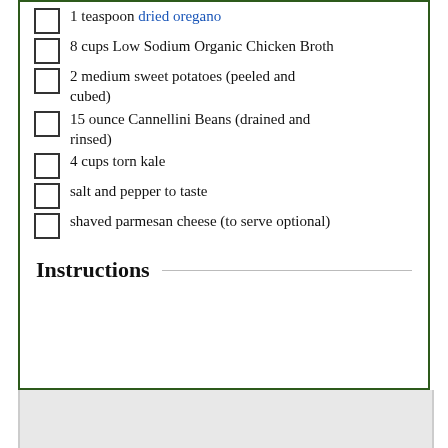1 teaspoon dried oregano
8 cups Low Sodium Organic Chicken Broth
2 medium sweet potatoes (peeled and cubed)
15 ounce Cannellini Beans (drained and rinsed)
4 cups torn kale
salt and pepper to taste
shaved parmesan cheese (to serve optional)
Instructions